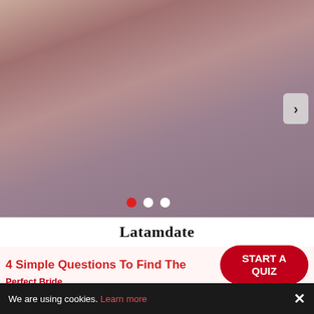[Figure (photo): Screenshot of a dating website showing a young woman with dark hair wearing a pink/mauve halter top, with navigation dots and arrow overlay on the image carousel]
Latamdate
4 Simple Questions To Find The
START A QUIZ
Perfect Bride
We are using cookies. Learn more